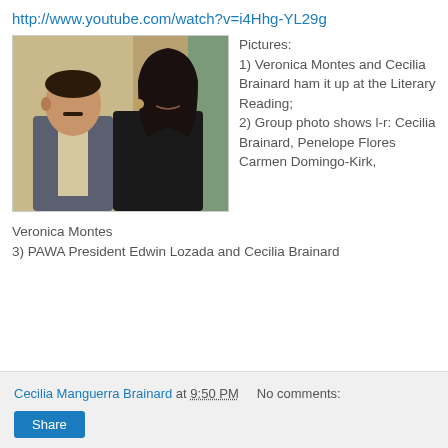http://www.youtube.com/watch?v=i4Hhg-YL29g
[Figure (photo): Two people posing together indoors: a man in a grey suit on the left and a woman in a black top with decorative neckline on the right, in front of a wooden wall background.]
Pictures: 1) Veronica Montes and Cecilia Brainard ham it up at the Literary Reading; 2) Group photo shows l-r: Cecilia Brainard, Penelope Flores Carmen Domingo-Kirk, Veronica Montes
3) PAWA President Edwin Lozada and Cecilia Brainard
Cecilia Manguerra Brainard at 9:50 PM   No comments:
Share